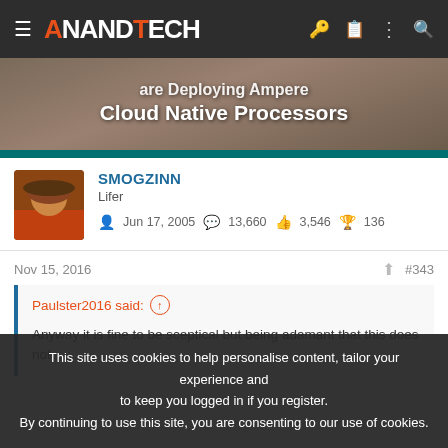ANANDTECH
[Figure (screenshot): Banner image with text 'are Deploying Ampere Cloud Native Processors' on a dark photo background with teal bar at bottom]
SMOGZINN
Lifer
Jun 17, 2005  13,660  3,546  136
Nov 15, 2016  #343
Paulster2016 said:
Anyway it is fine to be sceptical but being adamant that this does not
This site uses cookies to help personalise content, tailor your experience and to keep you logged in if you register.
By continuing to use this site, you are consenting to our use of cookies.